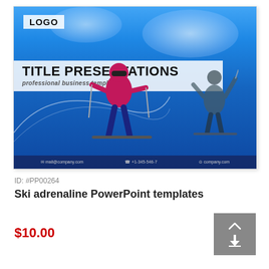[Figure (screenshot): PowerPoint template thumbnail showing a ski/winter sports theme with blue sky background, skiers, title band reading 'TITLE PRESENTATIONS / professional business template', and a logo placeholder in the top left corner.]
ID: #PP00264
Ski adrenaline PowerPoint templates
$10.00